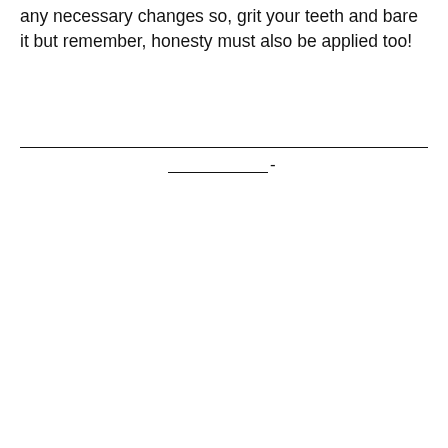any necessary changes so, grit your teeth and bare it but remember, honesty must also be applied too!